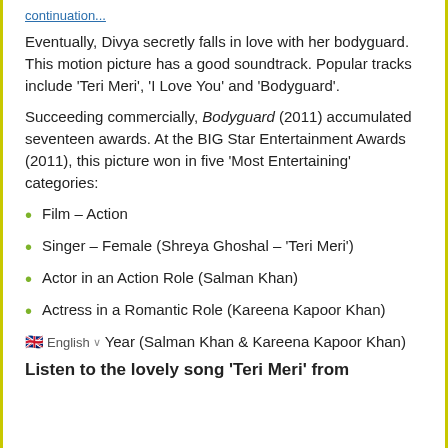Eventually, Divya secretly falls in love with her bodyguard. This motion picture has a good soundtrack. Popular tracks include 'Teri Meri', 'I Love You' and 'Bodyguard'.
Succeeding commercially, Bodyguard (2011) accumulated seventeen awards. At the BIG Star Entertainment Awards (2011), this picture won in five 'Most Entertaining' categories:
Film – Action
Singer – Female (Shreya Ghoshal – 'Teri Meri')
Actor in an Action Role (Salman Khan)
Actress in a Romantic Role (Kareena Kapoor Khan)
Year (Salman Khan & Kareena Kapoor Khan)
Listen to the lovely song 'Teri Meri' from